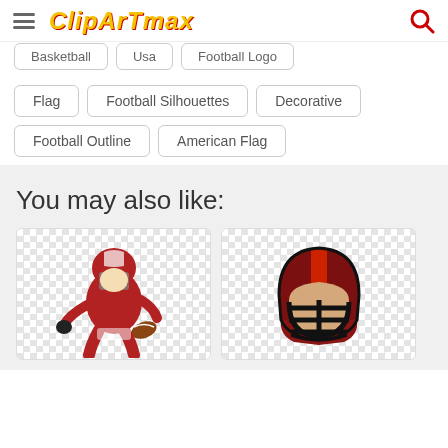ClipartMax
Basketball
Usa
Football Logo
Flag
Football Silhouettes
Decorative
Football Outline
American Flag
You may also like:
[Figure (illustration): Cartoon american football player in red uniform running with a football, wearing a helmet, on checkered transparent background]
[Figure (illustration): Front view of an american football helmet in dark red/maroon color with red stripe and black face mask, on checkered transparent background]